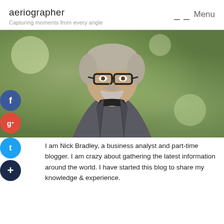aeriographer
Capturing moments from every angle
Menu
[Figure (photo): Portrait photo of a middle-aged man with gray-streaked hair, beard, glasses, wearing a dark suit jacket and black shirt, photographed outdoors against a blurred green background.]
I am Nick Bradley, a business analyst and part-time blogger. I am crazy about gathering the latest information around the world. I have started this blog to share my knowledge & experience.